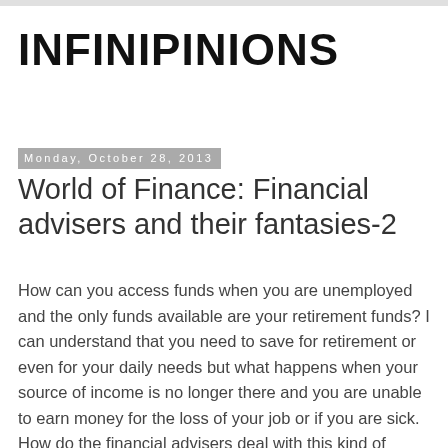INFINIPINIONS
Monday, October 28, 2013
World of Finance: Financial advisers and their fantasies-2
How can you access funds when you are unemployed and the only funds available are your retirement funds? I can understand that you need to save for retirement or even for your daily needs but what happens when your source of income is no longer there and you are unable to earn money for the loss of your job or if you are sick. How do the financial advisers deal with this kind of situation and accessing your own retirement fund is no crime. Although you will lose out on interest accumulated but your immediate need is to